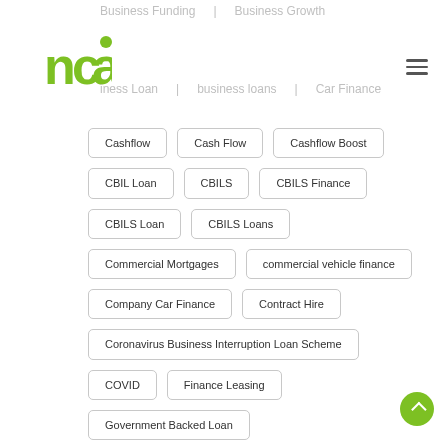[Figure (logo): nca logo - green stylized letters nc with a green dot]
Business Funding | Business Growth | Business Loan | business loans | Car Finance
Cashflow
Cash Flow
Cashflow Boost
CBIL Loan
CBILS
CBILS Finance
CBILS Loan
CBILS Loans
Commercial Mortgages
commercial vehicle finance
Company Car Finance
Contract Hire
Coronavirus Business Interruption Loan Scheme
COVID
Finance Leasing
Government Backed Loan
Government Business Loans
Government Finance
Government Loan
Hire Purchase